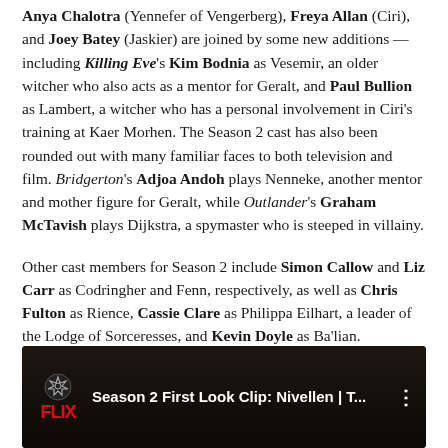Anya Chalotra (Yennefer of Vengerberg), Freya Allan (Ciri), and Joey Batey (Jaskier) are joined by some new additions — including Killing Eve's Kim Bodnia as Vesemir, an older witcher who also acts as a mentor for Geralt, and Paul Bullion as Lambert, a witcher who has a personal involvement in Ciri's training at Kaer Morhen. The Season 2 cast has also been rounded out with many familiar faces to both television and film. Bridgerton's Adjoa Andoh plays Nenneke, another mentor and mother figure for Geralt, while Outlander's Graham McTavish plays Dijkstra, a spymaster who is steeped in villainy.
Other cast members for Season 2 include Simon Callow and Liz Carr as Codringher and Fenn, respectively, as well as Chris Fulton as Rience, Cassie Clare as Philippa Eilhart, a leader of the Lodge of Sorceresses, and Kevin Doyle as Ba'lian.
Season 2 of The Witcher will premiere on December 17, while Season 1 is currently available to stream on Netflix. Check out the new clips below:
[Figure (screenshot): YouTube/Netflix video thumbnail showing 'Season 2 First Look Clip: Nivellen | T...' with Netflix logo and Witcher icon on dark background]